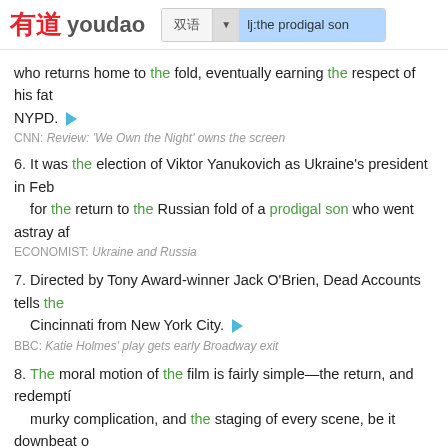有道 youdao — lj:the prodigal son
who returns home to the fold, eventually earning the respect of his fat NYPD.
CNN: Review: 'We Own the Night' owns the screen
6. It was the election of Viktor Yanukovich as Ukraine's president in Feb for the return to the Russian fold of a prodigal son who went astray af
ECONOMIST: Ukraine and Russia
7. Directed by Tony Award-winner Jack O'Brien, Dead Accounts tells the Cincinnati from New York City.
BBC: Katie Holmes' play gets early Broadway exit
8. The moral motion of the film is fairly simple—the return, and redemptí murky complication, and the staging of every scene, be it downbeat o implausibilities. (Bobby and Joseph, for instance, hardly look like brot through, is reason enough to see the film.
NEWYORKER: We Own the Night